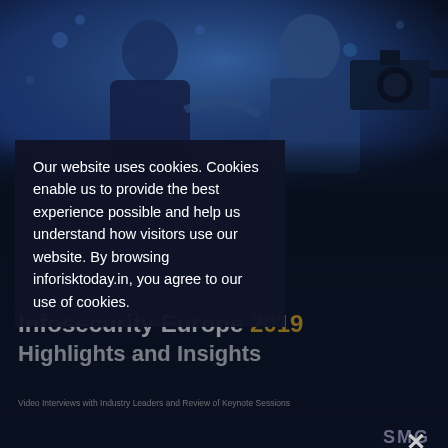[Figure (photo): Two men in conversation with a professional video camera in the foreground, blue-toned lighting, event/conference setting]
Our website uses cookies. Cookies enable us to provide the best experience possible and help us understand how visitors use our website. By browsing inforisktoday.in, you agree to our use of cookies.
Infosecurity Europe 2019 Highlights and Insights
Video Interviews with Industry Leaders and Review of Keynote Sessions
SMG